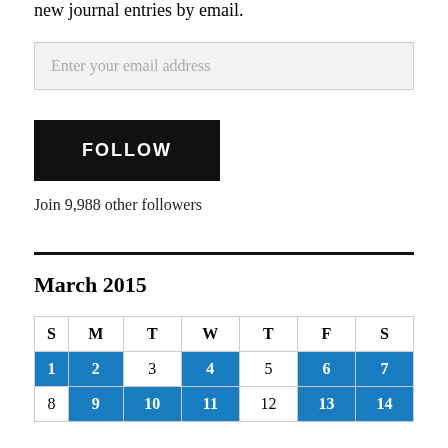new journal entries by email.
Enter your email address
FOLLOW
Join 9,988 other followers
March 2015
| S | M | T | W | T | F | S |
| --- | --- | --- | --- | --- | --- | --- |
| 1 | 2 | 3 | 4 | 5 | 6 | 7 |
| 8 | 9 | 10 | 11 | 12 | 13 | 14 |